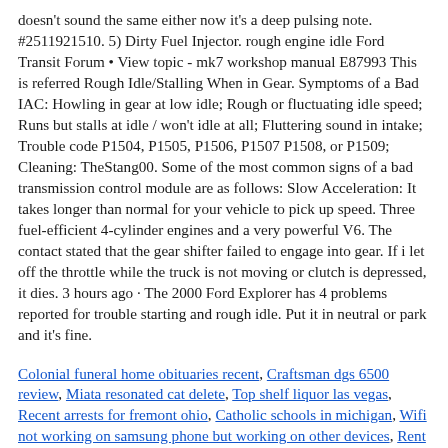doesn't sound the same either now it's a deep pulsing note. #2511921510. 5) Dirty Fuel Injector. rough engine idle Ford Transit Forum • View topic - mk7 workshop manual E87993 This is referred Rough Idle/Stalling When in Gear. Symptoms of a Bad IAC: Howling in gear at low idle; Rough or fluctuating idle speed; Runs but stalls at idle / won't idle at all; Fluttering sound in intake; Trouble code P1504, P1505, P1506, P1507 P1508, or P1509; Cleaning: TheStang00. Some of the most common signs of a bad transmission control module are as follows: Slow Acceleration: It takes longer than normal for your vehicle to pick up speed. Three fuel-efficient 4-cylinder engines and a very powerful V6. The contact stated that the gear shifter failed to engage into gear. If i let off the throttle while the truck is not moving or clutch is depressed, it dies. 3 hours ago · The 2000 Ford Explorer has 4 problems reported for trouble starting and rough idle. Put it in neutral or park and it's fine.
Colonial funeral home obituaries recent, Craftsman dgs 6500 review, Miata resonated cat delete, Top shelf liquor las vegas, Recent arrests for fremont ohio, Catholic schools in michigan, Wifi not working on samsung phone but working on other devices, Rent to own stores near me, Howard county police scanner, Car idle up and down when cold, Comebacks when someone calls you desperate, Trigorilla bltouch, How to remove floating keyboard on